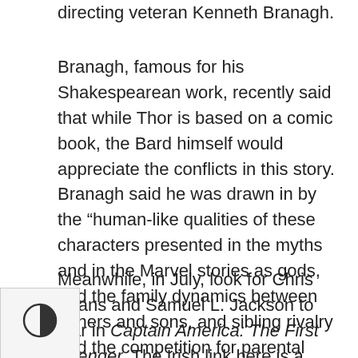directing veteran Kenneth Branagh.
Branagh, famous for his Shakespearean work, recently said that while Thor is based on a comic book, the Bard himself would appreciate the conflicts in this story. Branagh said he was drawn in by the "human-like qualities of these characters presented in the myths and in the Marvel stories as gods, and the family dynamics between fathers and sons, and sibling rivalry and the competition for parental affection."
Meanwhile, in July, look for Chris Evans and Samuel L. Jackson to star in Captain America: The First Avenger. The Irish link here is a more